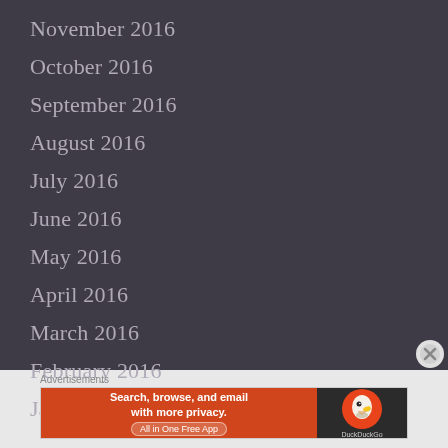November 2016
October 2016
September 2016
August 2016
July 2016
June 2016
May 2016
April 2016
March 2016
February 2016
January 2016
[Figure (screenshot): DuckDuckGo advertisement banner: 'Search, browse, and email with more privacy. All in One Free App' on orange background with DuckDuckGo logo on dark background.]